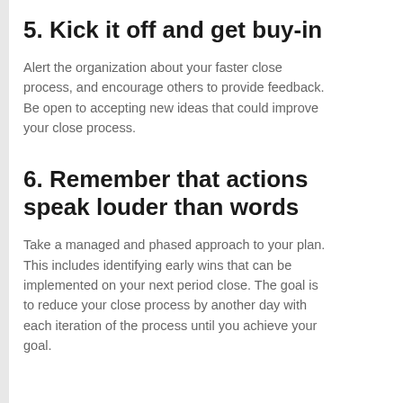5. Kick it off and get buy-in
Alert the organization about your faster close process, and encourage others to provide feedback. Be open to accepting new ideas that could improve your close process.
6. Remember that actions speak louder than words
Take a managed and phased approach to your plan. This includes identifying early wins that can be implemented on your next period close. The goal is to reduce your close process by another day with each iteration of the process until you achieve your goal.